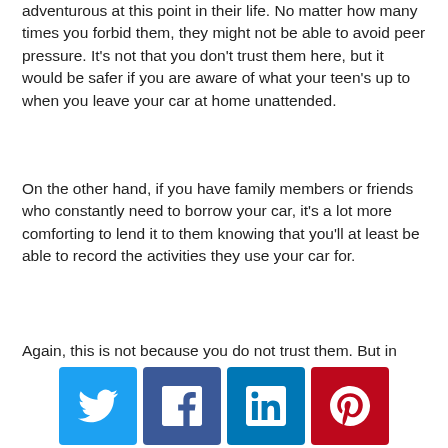adventurous at this point in their life. No matter how many times you forbid them, they might not be able to avoid peer pressure. It's not that you don't trust them here, but it would be safer if you are aware of what your teen's up to when you leave your car at home unattended.
On the other hand, if you have family members or friends who constantly need to borrow your car, it's a lot more comforting to lend it to them knowing that you'll at least be able to record the activities they use your car for.
Again, this is not because you do not trust them. But in case you need to drop your vehicle off at the local
[Figure (infographic): Social media sharing buttons: Twitter (blue), Facebook (dark blue), LinkedIn (blue), Pinterest (red)]